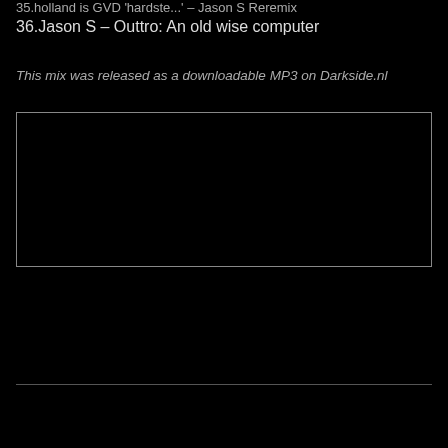35.holland is GVD 'hardste...' - Jason S Reremix
36.Jason S – Outtro: An old wise computer
This mix was released as a downloadable MP3 on Darkside.nl
[Figure (other): Black rectangle with a thin light-gray border, representing an embedded media player or image placeholder.]